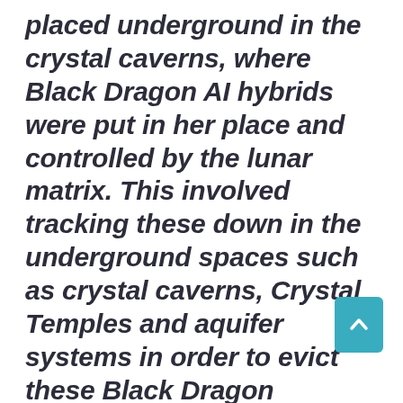placed underground in the crystal caverns, where Black Dragon AI hybrids were put in her place and controlled by the lunar matrix. This involved tracking these down in the underground spaces such as crystal caverns, Crystal Temples and aquifer systems in order to evict these Black Dragon Queens, their black heart crystals and lunar female demonic forces. These alien machines are used for cloning and soul harvesting of the planetary inhabitants, as well as instilling mental and spiritual